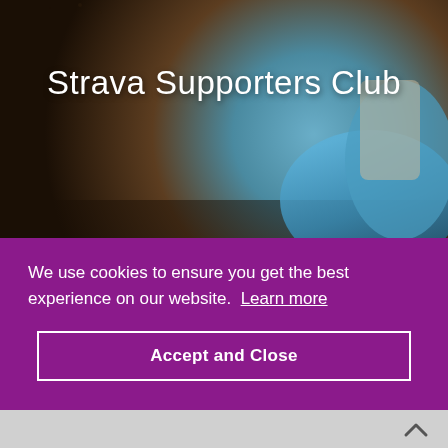[Figure (photo): Close-up photo of athletic shoes (blue sneakers) on dirt/mud ground, used as a background hero image for a Strava Supporters Club webpage.]
Strava Supporters Club
JOIN
We use cookies to ensure you get the best experience on our website.  Learn more
Accept and Close